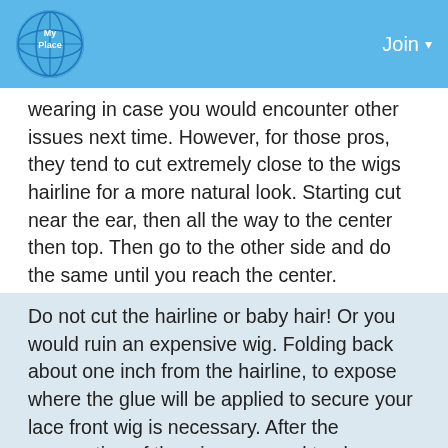My Place | Join
wearing in case you would encounter other issues next time. However, for those pros, they tend to cut extremely close to the wigs hairline for a more natural look. Starting cut near the ear, then all the way to the center then top. Then go to the other side and do the same until you reach the center.
Do not cut the hairline or baby hair! Or you would ruin an expensive wig. Folding back about one inch from the hairline, to expose where the glue will be applied to secure your lace front wig is necessary. After the preparation of the wig, you need to clean your forehead to remove the dirty, oil, or makeup which are all the hinder to stop the wig gluing solidly to your head.